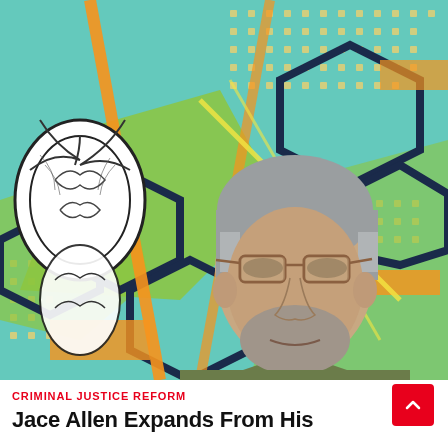[Figure (photo): A middle-aged white man with short gray hair and stubble wearing aviator-style glasses and an olive/army green t-shirt, standing in front of a colorful mural with geometric shapes, hexagons, dots, and floral elements in teal, lime green, orange, navy and black-and-white.]
CRIMINAL JUSTICE REFORM
Jace Allen Expands From His